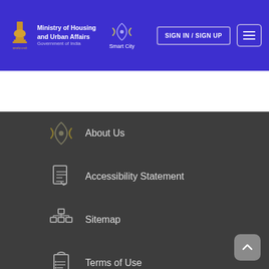Ministry of Housing and Urban Affairs Government of India | Smart City | SIGN IN / SIGN UP
About Us
Accessibility Statement
Sitemap
Terms of Use
Policy (partially visible)